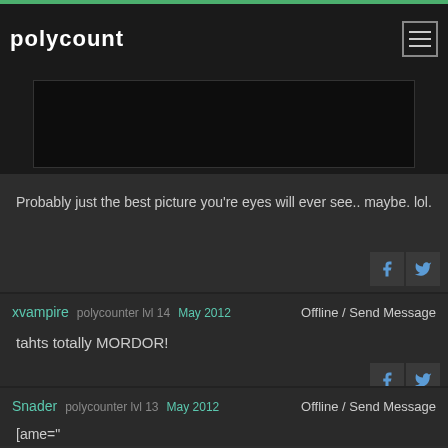polycount
[Figure (photo): Dark image, mostly black with a faint reddish element visible]
Probably just the best picture you're eyes will ever see.. maybe. lol.
xvampire  polycounter lvl 14  May 2012   Offline / Send Message
tahts totally MORDOR!
Snader  polycounter lvl 13  May 2012   Offline / Send Message
[ame="